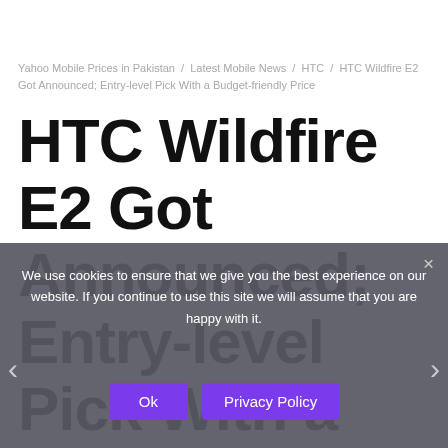Yahoo Mobile Prices in Pakistan / Latest Mobile News / HTC / HTC Wildfire E2 Got Announced; Entry-level Pick With a Budget-friendly Price
HTC Wildfire E2 Got Announced; Entry-level Pick With a Budget-friendly Price
We use cookies to ensure that we give you the best experience on our website. If you continue to use this site we will assume that you are happy with it.